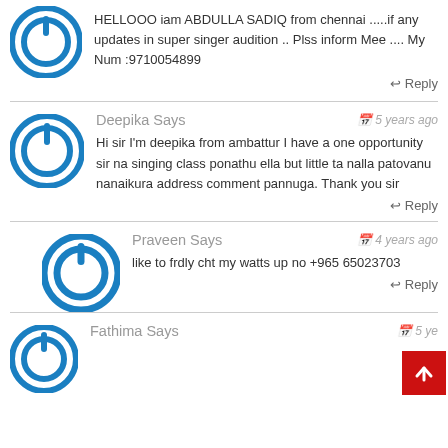HELLOOO iam ABDULLA SADIQ from chennai .....if any updates in super singer audition .. Plss inform Mee .... My Num :9710054899
↩ Reply
Deepika Says
5 years ago
Hi sir I'm deepika from ambattur I have a one opportunity sir na singing class ponathu ella but little ta nalla patovanu nanaikura address comment pannuga. Thank you sir
↩ Reply
Praveen Says
4 years ago
like to frdly cht my watts up no +965 65023703
↩ Reply
Fathima Says
5 ye